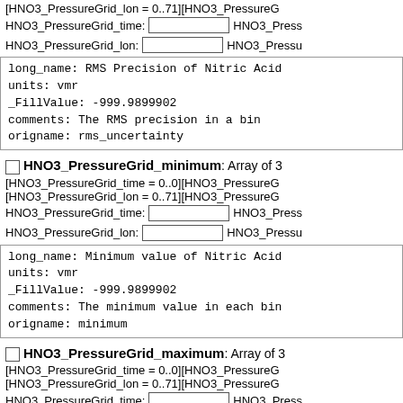[HNO3_PressureGrid_lon = 0..71][HNO3_PressureG...
HNO3_PressureGrid_time: [input] HNO3_Press...
HNO3_PressureGrid_lon: [input] HNO3_Pressu...
long_name: RMS Precision of Nitric Acid
units: vmr
_FillValue: -999.9899902
comments: The RMS precision in a bin
origname: rms_uncertainty
HNO3_PressureGrid_minimum: Array of 3...
[HNO3_PressureGrid_time = 0..0][HNO3_PressureG...
[HNO3_PressureGrid_lon = 0..71][HNO3_PressureG...
HNO3_PressureGrid_time: [input] HNO3_Press...
HNO3_PressureGrid_lon: [input] HNO3_Pressu...
long_name: Minimum value of Nitric Acid
units: vmr
_FillValue: -999.9899902
comments: The minimum value in each bin
origname: minimum
HNO3_PressureGrid_maximum: Array of 3...
[HNO3_PressureGrid_time = 0..0][HNO3_PressureG...
[HNO3_PressureGrid_lon = 0..71][HNO3_PressureG...
HNO3_PressureGrid_time: [input] HNO3_Press...
HNO3_PressureGrid_lon: [input] HNO3_Pressu...
long_name: Maximum value of Nitric Acid
units: vmr